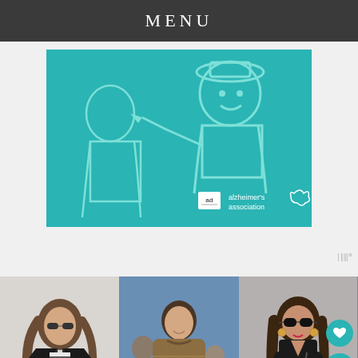MENU
[Figure (illustration): Teal-background advertisement banner with white line-art illustration of a person and Alzheimer's Association logo with 'ad' badge]
[Figure (photo): Three-panel photo strip of women in street fashion: left panel shows woman in black leather jacket and sunglasses, center panel shows woman in plaid/houndstooth coat, right panel shows woman in black with sunglasses carrying a crossbody bag]
WHAT'S NEXT → 6 Striking Shoes From...